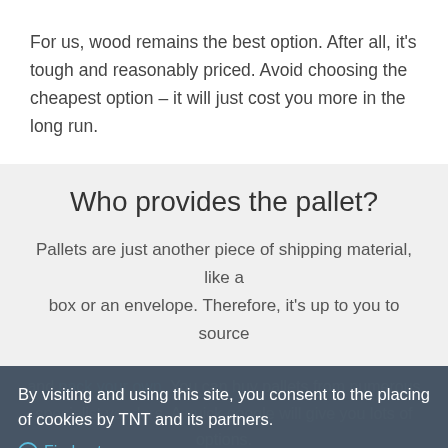For us, wood remains the best option. After all, it’s tough and reasonably priced. Avoid choosing the cheapest option – it will just cost you more in the long run.
Who provides the pallet?
Pallets are just another piece of shipping material, like a box or an envelope. Therefore, it’s up to you to source and pack your own. You can buy pallets from numerous specialist vendors. A quick google will give you lots of options.
By visiting and using this site, you consent to the placing of cookies by TNT and its partners.
Find out more
Close